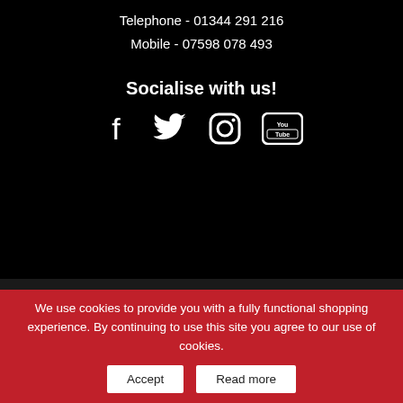Telephone - 01344 291 216
Mobile - 07598 078 493
Socialise with us!
[Figure (illustration): Social media icons: Facebook, Twitter, Instagram, YouTube]
We use cookies to provide you with a fully functional shopping experience. By continuing to use this site you agree to our use of cookies.
Accept   Read more